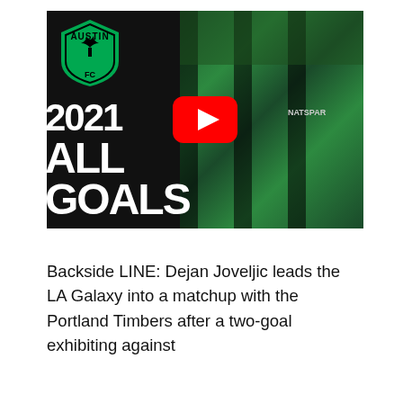[Figure (screenshot): YouTube video thumbnail showing Austin FC 2021 All Goals compilation. Left side has black background with Austin FC logo (green shield with tree) and large white bold text reading '2021 ALL GOALS'. Right side shows a soccer player in green and black Austin FC jersey celebrating, with a red YouTube play button overlay in the center.]
Backside LINE: Dejan Joveljic leads the LA Galaxy into a matchup with the Portland Timbers after a two-goal exhibiting against